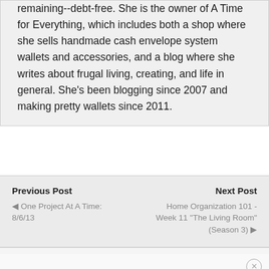remaining--debt-free. She is the owner of A Time for Everything, which includes both a shop where she sells handmade cash envelope system wallets and accessories, and a blog where she writes about frugal living, creating, and life in general. She's been blogging since 2007 and making pretty wallets since 2011.
Previous Post
Next Post
◁ One Project At A Time: 8/6/13
Home Organization 101 - Week 11 "The Living Room" (Season 3) ▷
⊙ Back to top